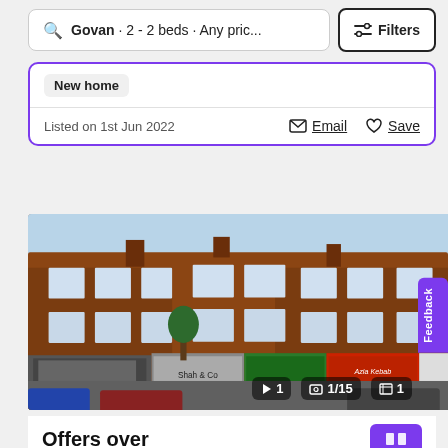Govan · 2 - 2 beds · Any pric...
Filters
New home
Listed on 1st Jun 2022
Email
Save
[Figure (photo): Exterior photo of a red sandstone tenement building in Govan with shops at street level including Shah & Co and Azia Kebab. Image counter shows 1/15 with 1 video and 1 floorplan.]
Feedback
Offers over